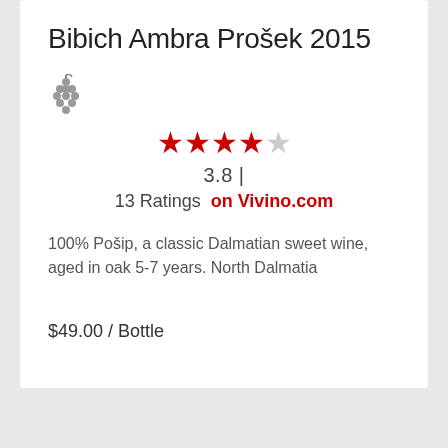Bibich Ambra Prošek 2015
[Figure (illustration): Small grape cluster icon in grey]
★★★★☆  3.8 |  13 Ratings  on Vivino.com
100% Pošip, a classic Dalmatian sweet wine, aged in oak 5-7 years. North Dalmatia
$49.00 / Bottle